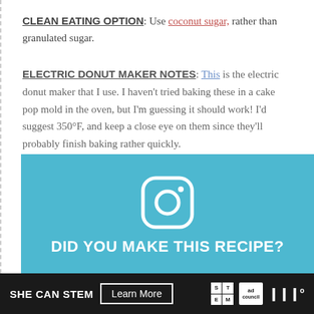CLEAN EATING OPTION: Use coconut sugar, rather than granulated sugar.
ELECTRIC DONUT MAKER NOTES: This is the electric donut maker that I use. I haven't tried baking these in a cake pop mold in the oven, but I'm guessing it should work! I'd suggest 350°F, and keep a close eye on them since they'll probably finish baking rather quickly.
{gluten-free, dairy-free, clean eating, low fat}
[Figure (infographic): Light blue Instagram promotional box with Instagram camera icon in white and bold white text reading 'DID YOU MAKE THIS RECIPE?']
[Figure (infographic): Dark advertisement bar at bottom: 'SHE CAN STEM' with 'Learn More' button, STEM grid logo, Ad Council logo, and Mediavine logo]